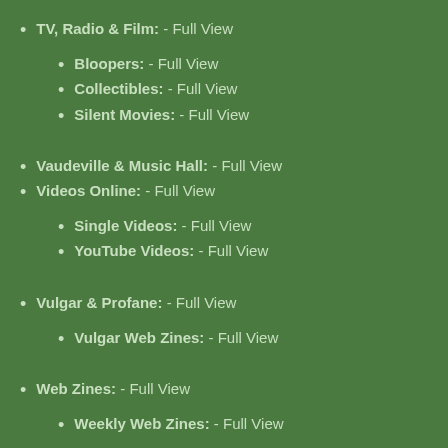TV, Radio & Film: - Full View
Bloopers: - Full View
Collectibles: - Full View
Silent Movies: - Full View
Vaudeville & Music Hall: - Full View
Videos Online: - Full View
Single Videos: - Full View
YouTube Videos: - Full View
Vulgar & Profane: - Full View
Vulgar Web Zines: - Full View
Web Zines: - Full View
Weekly Web Zines: - Full View
Weird & Dark: - Full View